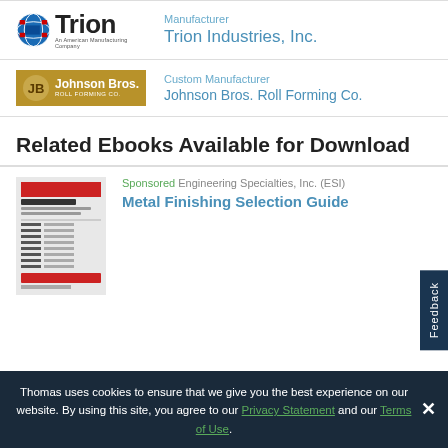[Figure (logo): Trion Industries logo with globe icon and company name]
Manufacturer
Trion Industries, Inc.
[Figure (logo): Johnson Bros. Roll Forming Co. logo with golden background]
Custom Manufacturer
Johnson Bros. Roll Forming Co.
Related Ebooks Available for Download
[Figure (screenshot): Thumbnail of Metal Finishing Selection Guide ebook cover]
Sponsored  Engineering Specialties, Inc. (ESI)
Metal Finishing Selection Guide
Thomas uses cookies to ensure that we give you the best experience on our website. By using this site, you agree to our Privacy Statement and our Terms of Use.